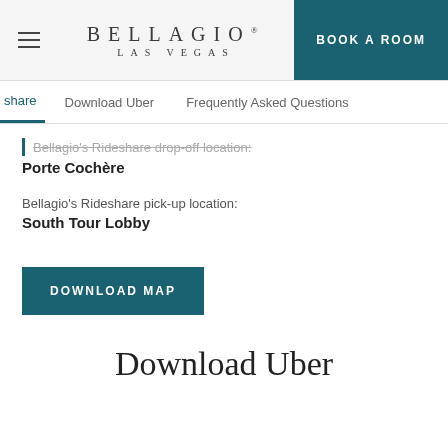BELLAGIO LAS VEGAS | BOOK A ROOM
share | Download Uber | Frequently Asked Questions
Bellagio's Rideshare drop-off location:
Porte Cochère
Bellagio's Rideshare pick-up location:
South Tour Lobby
DOWNLOAD MAP
Download Uber